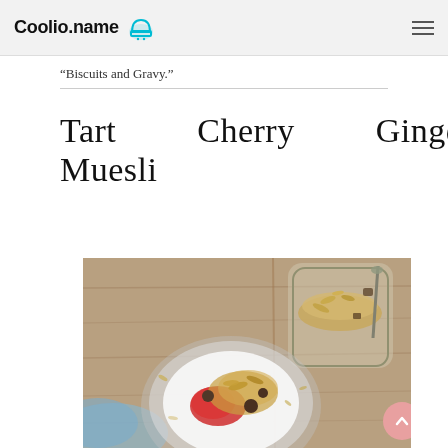Coolio.name
“Biscuits and Gravy.”
Tart Cherry Ginger Muesli
[Figure (photo): Overhead view of a bowl of muesli with tart cherries and yogurt, next to a glass jar of muesli, on a wooden surface with a blue cloth.]